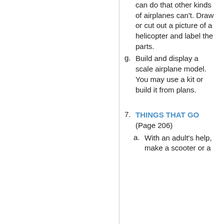can do that other kinds of airplanes can't. Draw or cut out a picture of a helicopter and label the parts.
g. Build and display a scale airplane model. You may use a kit or build it from plans.
7. THINGS THAT GO (Page 206)
a. With an adult's help, make a scooter or a